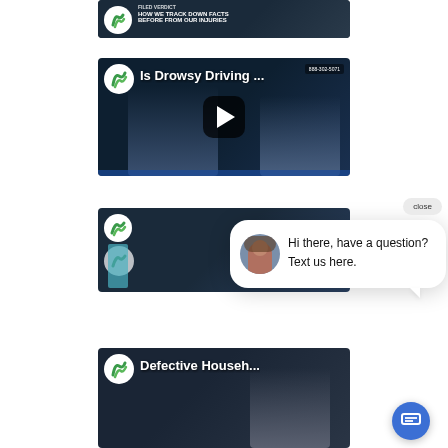[Figure (screenshot): Video thumbnail 1 - partial view at top of page, dark background with text overlay]
[Figure (screenshot): Video thumbnail - 'Is Drowsy Driving ...' with play button, two men visible, green logo circle top left, phone number top right]
[Figure (screenshot): Video thumbnail 3 - partial view with chat popup overlay, 'close' button, chat message 'Hi there, have a question? Text us here.' with avatar, and blue chat button]
[Figure (screenshot): Video thumbnail - 'Defective Househ...' with woman visible, green logo circle top left]